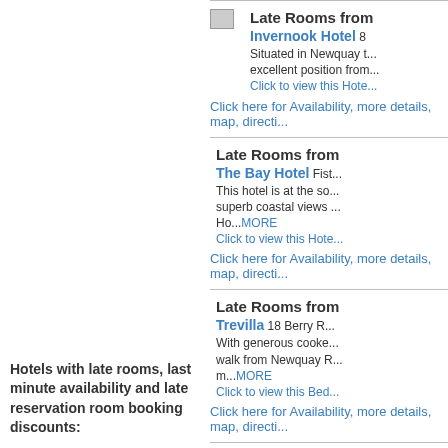[Figure (photo): Invernook Hotel small thumbnail image]
Late Rooms from
Invernook Hotel 8...
Situated in Newquay t... excellent position from...
Click to view this Hote...
Click here for Availability, more details, map, directi...
[Figure (photo): The Bay Hotel photo showing coastal cliffs and beach]
Late Rooms from
The Bay Hotel Fist...
This hotel is at the so... superb coastal views ...
Ho...MORE
Click to view this Hote...
Click here for Availability, more details, map, directi...
[Figure (photo): Trevilla bed and breakfast building photo]
Late Rooms from
Trevilla 18 Berry R...
With generous cooke... walk from Newquay R...
m...MORE
Click to view this Bed...
Click here for Availability, more details, map, directi...
[Figure (photo): The Quies small thumbnail image]
Late Rooms from
The Quies 26 New...
Just 2 minutes from N... Quies Hotel features...
Hotels with late rooms, last minute availability and late reservation room booking discounts: